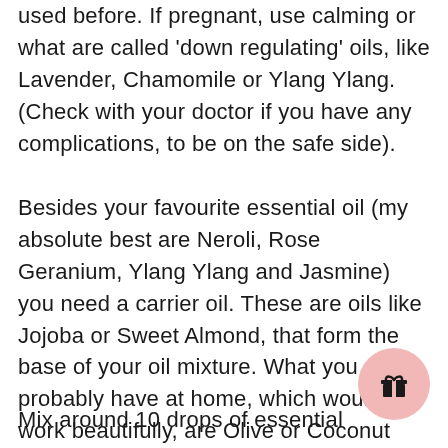used before. If pregnant, use calming or what are called 'down regulating' oils, like Lavender, Chamomile or Ylang Ylang. (Check with your doctor if you have any complications, to be on the safe side).
Besides your favourite essential oil (my absolute best are Neroli, Rose Geranium, Ylang Ylang and Jasmine) you need a carrier oil. These are oils like Jojoba or Sweet Almond, that form the base of your oil mixture. What you most probably have at home, which would work beautifully, are Olive or Coconut Oil.
Mix around 10 drops of essential